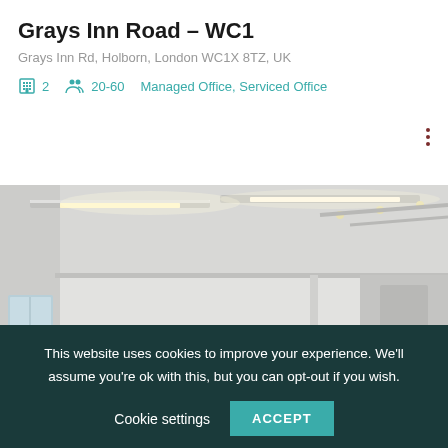Grays Inn Road – WC1
Grays Inn Rd, Holborn, London WC1X 8TZ, UK
2  20-60  Managed Office, Serviced Office
[Figure (photo): Interior of an office space with white walls, industrial-style ceiling with recessed and strip lighting, and an open-plan layout.]
This website uses cookies to improve your experience. We'll assume you're ok with this, but you can opt-out if you wish. Cookie settings  ACCEPT